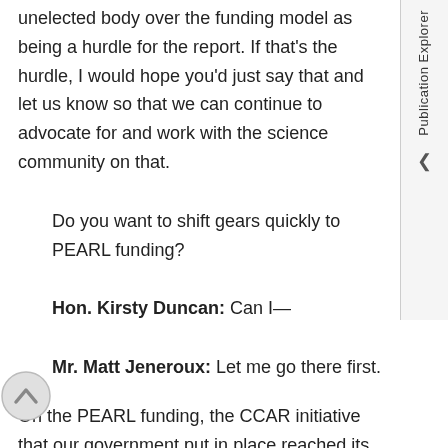unelected body over the funding model as being a hurdle for the report. If that's the hurdle, I would hope you'd just say that and let us know so that we can continue to advocate for and work with the science community on that.
Do you want to shift gears quickly to PEARL funding?
Hon. Kirsty Duncan: Can I—
Mr. Matt Jeneroux: Let me go there first.
On the PEARL funding, the CCAR initiative that our government put in place reached its end of cycle. There was a lot of concern within the science community regarding the funding for PEARL. You swooped in at the 11th hour with the Minister of the Environment to find $1.6